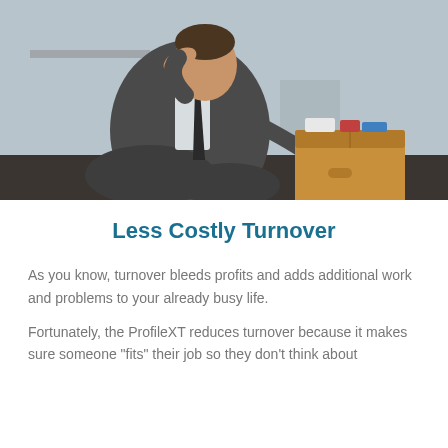[Figure (photo): A man in a grey suit sitting cross-legged on the floor with his head in his hand, looking stressed, with a cardboard box of belongings beside him, suggesting job loss or being fired.]
Less Costly Turnover
As you know, turnover bleeds profits and adds additional work and problems to your already busy life.
Fortunately, the ProfileXT reduces turnover because it makes sure someone "fits" their job so they don't think about